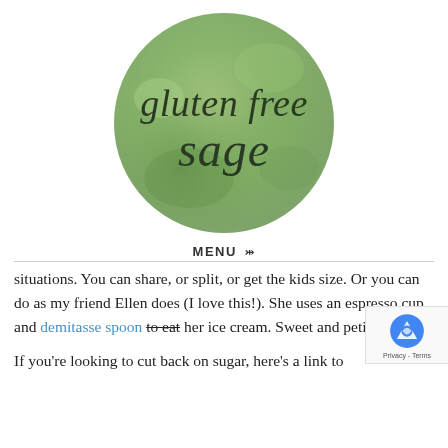[Figure (logo): Gluten Free Sage logo — a green watercolor circle with cursive script text reading 'gluten free sage']
MENU ▾
situations. You can share, or split, or get the kids size. Or you can do as my friend Ellen does (I love this!). She uses an espresso cup and demitasse spoon to eat her ice cream. Sweet and petite!
If you're looking to cut back on sugar, here's a link to